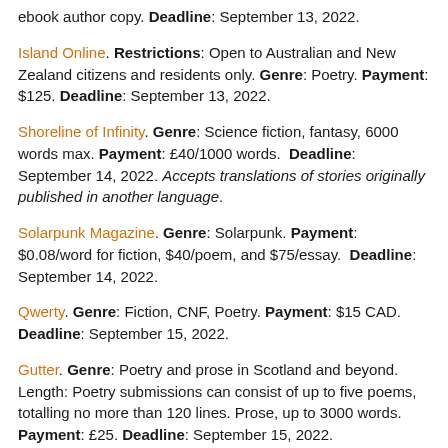ebook author copy. Deadline: September 13, 2022.
Island Online. Restrictions: Open to Australian and New Zealand citizens and residents only. Genre: Poetry. Payment: $125. Deadline: September 13, 2022.
Shoreline of Infinity. Genre: Science fiction, fantasy, 6000 words max. Payment: £40/1000 words. Deadline: September 14, 2022. Accepts translations of stories originally published in another language.
Solarpunk Magazine. Genre: Solarpunk. Payment: $0.08/word for fiction, $40/poem, and $75/essay. Deadline: September 14, 2022.
Qwerty. Genre: Fiction, CNF, Poetry. Payment: $15 CAD. Deadline: September 15, 2022.
Gutter. Genre: Poetry and prose in Scotland and beyond. Length: Poetry submissions can consist of up to five poems, totalling no more than 120 lines. Prose, up to 3000 words. Payment: £25. Deadline: September 15, 2022.